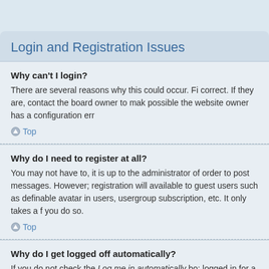Login and Registration Issues
Why can't I login?
There are several reasons why this could occur. Fi correct. If they are, contact the board owner to mak possible the website owner has a configuration err
Top
Why do I need to register at all?
You may not have to, it is up to the administrator of order to post messages. However; registration will available to guest users such as definable avatar in users, usergroup subscription, etc. It only takes a f you do so.
Top
Why do I get logged off automatically?
If you do not check the Log me in automatically bo: logged in for a preset time. This prevents misuse o